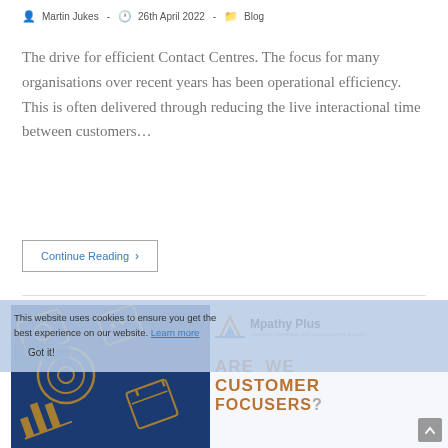Martin Jukes  -  26th April 2022  -  Blog
The drive for efficient Contact Centres. The focus for many organisations over recent years has been operational efficiency. This is often delivered through reducing the live interactional time between customers…
Continue Reading ›
[Figure (screenshot): Blog card with blue background decorated with orange line-art icons (target, calendar, chat bubbles, analytics chart), overlaid with a cookie consent banner and Mpathy Plus logo. Large orange text reads 'ARE WE CUSTOMER FOCUSERS?' partially visible.]